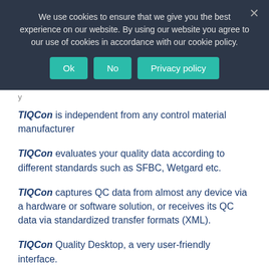We use cookies to ensure that we give you the best experience on our website. By using our website you agree to our use of cookies in accordance with our cookie policy.
TIQCon is independent from any control material manufacturer
TIQCon evaluates your quality data according to different standards such as SFBC, Wetgard etc.
TIQCon captures QC data from almost any device via a hardware or software solution, or receives its QC data via standardized transfer formats (XML).
TIQCon Quality Desktop, a very user-friendly interface.